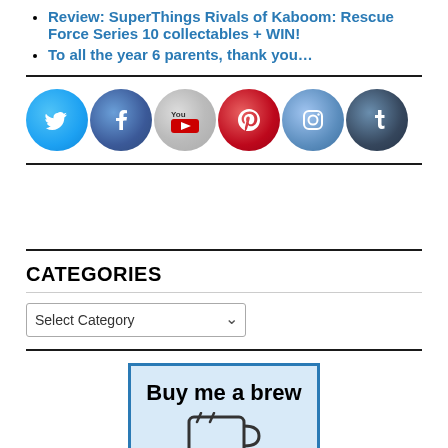Review: SuperThings Rivals of Kaboom: Rescue Force Series 10 collectables + WIN!
To all the year 6 parents, thank you…
[Figure (illustration): Row of 6 circular social media icons: Twitter (blue bird), Facebook (blue f), YouTube (grey/white), Pinterest (red P), Instagram (blue camera), Tumblr (dark blue t)]
CATEGORIES
[Figure (screenshot): Dropdown select box labeled 'Select Category' with a chevron arrow on the right]
[Figure (illustration): Blue-bordered box with light blue background containing bold text 'Buy me a brew' and a mug icon below]